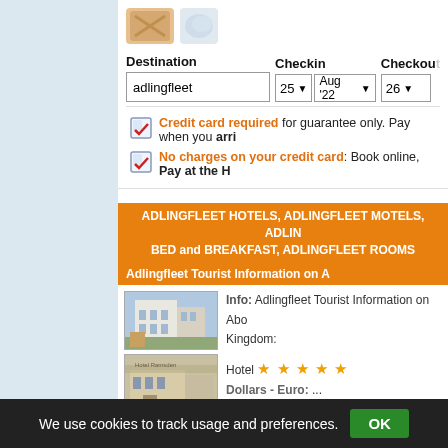[Figure (screenshot): Hotel booking search interface screenshot showing destination field with 'adlingfleet', checkin date 25 Aug '22, checkout 26, credit card info, orange banners for Adlingfleet hotels, and hotel listing with photos and details]
Credit card required for guarantee only. Pay when you arrive
No charges on your credit card: Book online, Pay at the Hotel
ADLINGFLEET HOTELS, ADLINGFLEET MOTELS, ADLINGFLEET BED and BREAKFAST, ADLINGFLEET ROOMS
Adlingfleet Tourist Information on A
Info: Adlingfleet Tourist Information on About United Kingdom:
Hotel ★★★★★
Dollars - Euro: ...
Tel:Fax: ...
TV - HiFi: n/a
Clima: n/a
We use cookies to track usage and preferences. OK